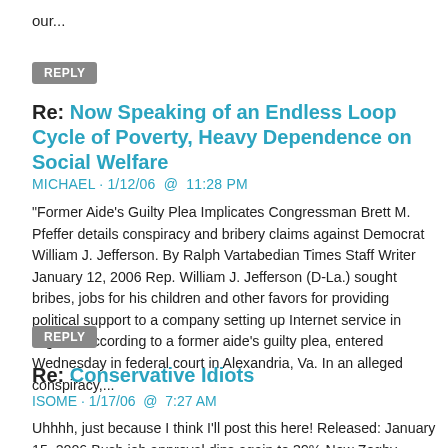our...
REPLY
Re: Now Speaking of an Endless Loop Cycle of Poverty, Heavy Dependence on Social Welfare
MICHAEL · 1/12/06  @  11:28 PM
"Former Aide's Guilty Plea Implicates Congressman Brett M. Pfeffer details conspiracy and bribery claims against Democrat William J. Jefferson. By Ralph Vartabedian Times Staff Writer January 12, 2006 Rep. William J. Jefferson (D-La.) sought bribes, jobs for his children and other favors for providing political support to a company setting up Internet service in Nigeria, according to a former aide's guilty plea, entered Wednesday in federal court in Alexandria, Va. In an alleged conspiracy,...
REPLY
Re: Conservative Idiots
ISOME · 1/17/06  @  7:27 AM
Uhhhh, just because I think I'll post this here! Released: January 15, 2006 Bush job approval dips again to 39% New Zogby Survey shows Iraq a Partisan War In the face of rising gas prices, partisan sniping over